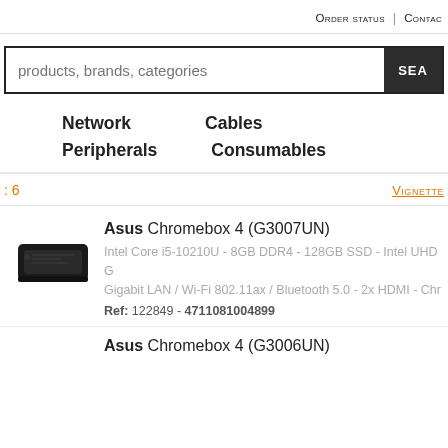Order status | Contact
products, brands, categories [SEARCH]
Network  Cables  Peripherals  Consumables
: 6   Vignette
Asus Chromebox 4 (G3007UN)
Intel Core i5-10210U - 8GB DDR4 - 128GB SSD - Intel UHD G Gigabit LAN / Wi-Fi 802.11ax / Bluetooth 5.0 - 2x HDMI - Chr
Ref: 122849 - 4711081004899
Asus Chromebox 4 (G3006UN)